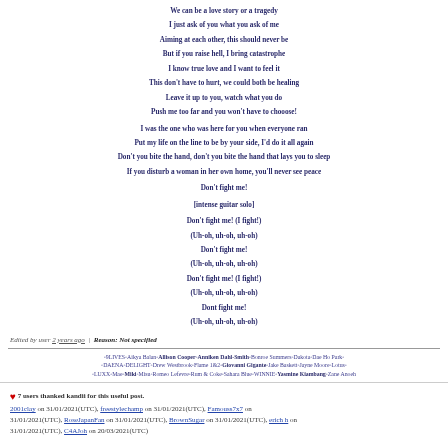We can be a love story or a tragedy
I just ask of you what you ask of me
Aiming at each other, this should never be
But if you raise hell, I bring catastrophe
I know true love and I want to feel it
This don't have to hurt, we could both be healing
Leave it up to you, watch what you do
Push me too far and you won't have to chooose!

I was the one who was here for you when everyone ran
Put my life on the line to be by your side, I'd do it all again
Don't you bite the hand, don't you bite the hand that lays you to sleep
If you disturb a woman in her own home, you'll never see peace

Don't fight me!

[intense guitar solo]

Don't fight me! (I fight!)
(Uh-oh, uh-oh, uh-oh)
Don't fight me!
(Uh-oh, uh-oh, uh-oh)
Don't fight me! (I fight!)
(Uh-oh, uh-oh, uh-oh)
Dont fight me!
(Uh-oh, uh-oh, uh-oh)
Edited by user 2 years ago | Reason: Not specified
◦9LIVES◦Aikya Balan◦Allison Cooper◦Anniken Dahl-Smith◦Bonroe Summers◦Dakota◦Dae Ho Park◦◦DAENA◦DELIGHT◦Drew Westbrook◦Flame 1&2◦Giovanni Gigante◦Jake Baskett◦Jayne Moore◦Lotus◦◦LUXX◦Mae◦Miki◦Misu◦Romeo Lefevre◦Rum & Coke◦Sahara Blue◦WINNIE◦Yasmine Kiambang◦Zane Anoeh
7 users thanked kandii for this useful post.
2001clay on 31/01/2021(UTC), freestylechamp on 31/01/2021(UTC), Famouss7x7 on 31/01/2021(UTC), RoseJapanFan on 31/01/2021(UTC), BrownSugar on 31/01/2021(UTC), erich h on 31/01/2021(UTC), C4AJoh on 20/03/2021(UTC)